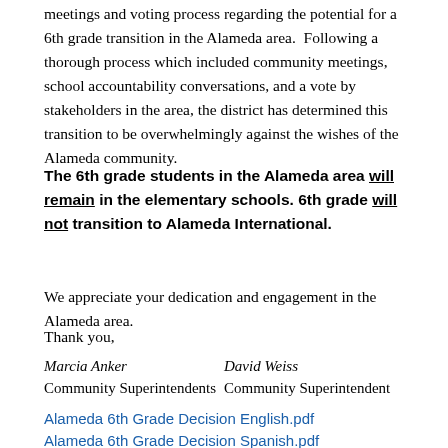meetings and voting process regarding the potential for a 6th grade transition in the Alameda area.  Following a thorough process which included community meetings, school accountability conversations, and a vote by stakeholders in the area, the district has determined this transition to be overwhelmingly against the wishes of the Alameda community.
The 6th grade students in the Alameda area will remain in the elementary schools. 6th grade will not transition to Alameda International.
We appreciate your dedication and engagement in the Alameda area.
Thank you,
Marcia Anker
Community Superintendents

David Weiss
Community Superintendent
Alameda 6th Grade Decision English.pdf
Alameda 6th Grade Decision Spanish.pdf
Alameda 6th Grade Decision Vietnamese.pdf